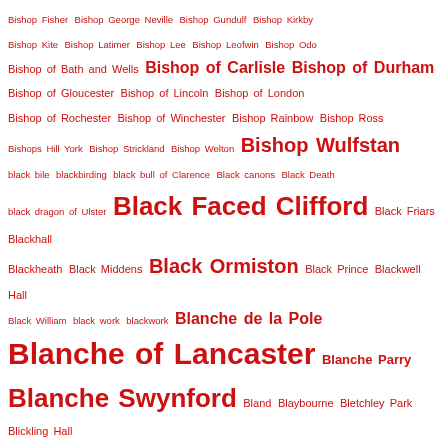[Figure (other): Tag cloud of historical terms and names in red, varying font sizes indicating frequency/importance. Terms include Bishop Fisher, Bishop George Neville, Bishop Gundulf, Bishop Kirkby, Bishop Kite, Bishop Latimer, Bishop Lee, Bishop Leofwin, Bishop Odo, Bishop of Bath and Wells, Bishop of Carlisle, Bishop of Durham, Bishop of Gloucester, Bishop of Lincoln, Bishop of London, Bishop of Rochester, Bishop of Winchester, Bishop Rainbow, Bishop Ross, Bishops Hill York, Bishop Strickland, Bishop Welton, Bishop Wulfstan, black bile, blackbirding, black bull of Clarence, Black canons, Black Death, black dragon of Ulster, Black Faced Clifford, Black Friars, Blackhall, Blackheath, Black Middens, Black Ormiston, Black Prince, Blackwell Hall, Black William, black work, blackwork, Blanche de la Pole, Blanche of Lancaster, Blanche Parry, Blanche Swynford, Bland, Blaybourne, Bletchley Park, Blickling Hall, blood letting, Bloody Mary, Bloody Meadow, blue eyes, Blythburgh Church, body snatchers, Bohemia, Bokenham, Bold Buccleugh, Bolling House, Bolton Abbey, Bolton Castle, Bolton Priory, Bolton Street, bonded labour, Bond of Association, Bonnie Prince Charlie, Book of Common Prayer, Book of Hours, books, Bootham, border, border ballads]